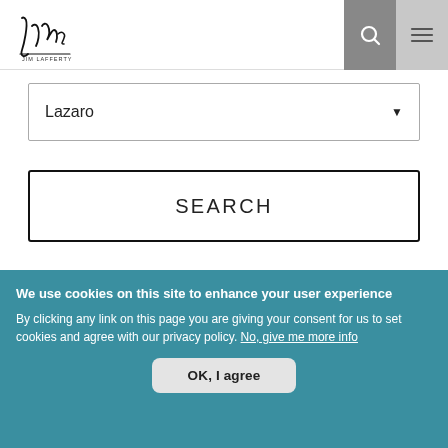[Figure (logo): Stylized handwritten signature logo for Jim Lafferty]
Lazaro
SEARCH
We use cookies on this site to enhance your user experience
By clicking any link on this page you are giving your consent for us to set cookies and agree with our privacy policy. No, give me more info
OK, I agree